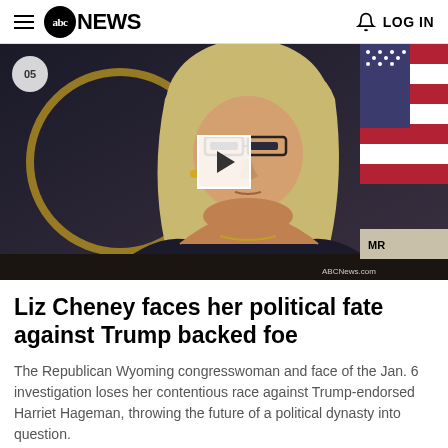abc NEWS  LOG IN
[Figure (photo): Woman with blonde hair and glasses resting her chin on her hands, seated at what appears to be a congressional hearing. Background shows a flag and official seal. Video play button overlay visible. Watermark reads ABCNews.com. Timer badge reads 05.]
Liz Cheney faces her political fate against Trump backed foe
The Republican Wyoming congresswoman and face of the Jan. 6 investigation loses her contentious race against Trump-endorsed Harriet Hageman, throwing the future of a political dynasty into question.
Aug 17